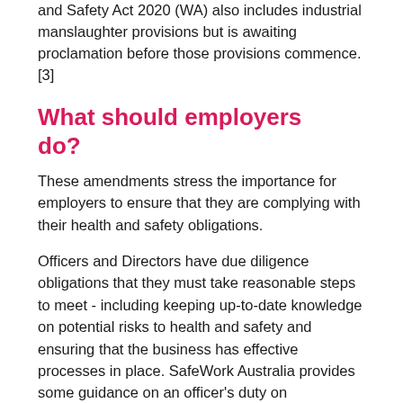and Safety Act 2020 (WA) also includes industrial manslaughter provisions but is awaiting proclamation before those provisions commence.[3]
What should employers do?
These amendments stress the importance for employers to ensure that they are complying with their health and safety obligations.
Officers and Directors have due diligence obligations that they must take reasonable steps to meet - including keeping up-to-date knowledge on potential risks to health and safety and ensuring that the business has effective processes in place. SafeWork Australia provides some guidance on an officer's duty on